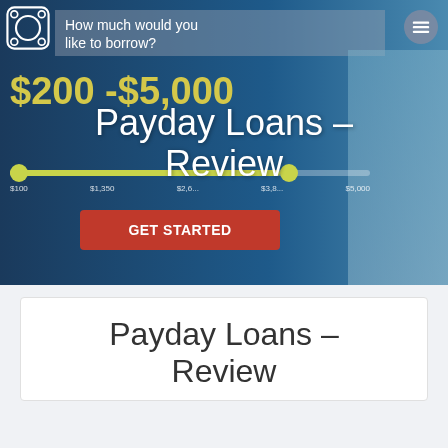[Figure (screenshot): Website hero banner for a payday loans review page showing a loan amount selector with range $200-$5,000, a slider, and GET STARTED button on a dark blue background]
Payday Loans – Review
Payday Loans – Review